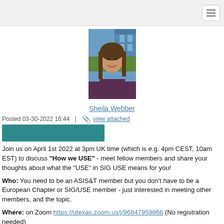[Figure (photo): Profile photo of Sheila Webber, a woman with long brown hair, smiling, wearing a dark top, outdoors with blue building in background]
Sheila Webber
Posted 03-30-2022 16:44  |  view attached
[Figure (other): Teal/dark-green rectangular banner bar]
Join us on April 1st 2022 at 3pm UK time (which is e.g. 4pm CEST, 10am EST) to discuss "How we USE" - meet fellow members and share your thoughts about what the "USE" in SIG USE means for you!
Who: You need to be an ASIS&T member but you don't have to be a European Chapter or SIG/USE member - just interested in meeting other members, and the topic.
Where: on Zoom https://utexas.zoom.us/j/96847959866 (No registration needed)